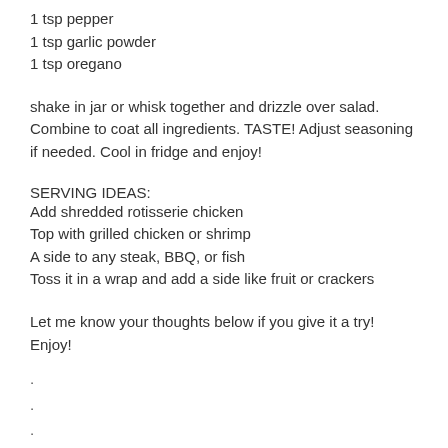1 tsp pepper
1 tsp garlic powder
1 tsp oregano
shake in jar or whisk together and drizzle over salad. Combine to coat all ingredients. TASTE! Adjust seasoning if needed. Cool in fridge and enjoy!
SERVING IDEAS:
Add shredded rotisserie chicken
Top with grilled chicken or shrimp
A side to any steak, BBQ, or fish
Toss it in a wrap and add a side like fruit or crackers
Let me know your thoughts below if you give it a try! Enjoy!
. . . . . . . .
#sidedish #sidedishes #sidedishideas #sidedishinspo